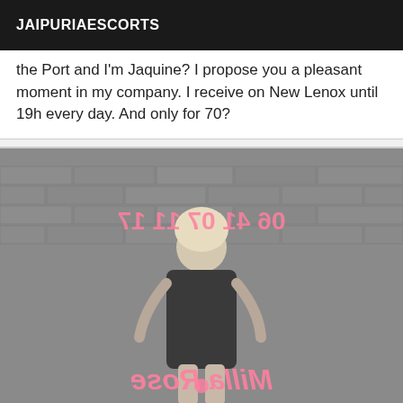JAIPURIAESCORTS
the Port and I'm Jaquine? I propose you a pleasant moment in my company. I receive on New Lenox until 19h every day. And only for 70?
[Figure (photo): Black and white photo of a woman standing with her back to the camera in a black dress against a brick wall. Pink mirrored text overlay reads phone number and 'Milla Rose'.]